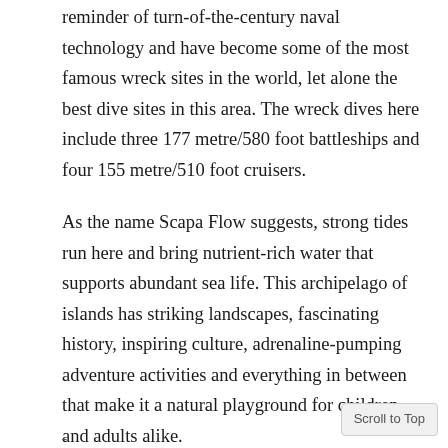reminder of turn-of-the-century naval technology and have become some of the most famous wreck sites in the world, let alone the best dive sites in this area. The wreck dives here include three 177 metre/580 foot battleships and four 155 metre/510 foot cruisers.
As the name Scapa Flow suggests, strong tides run here and bring nutrient-rich water that supports abundant sea life. This archipelago of islands has striking landscapes, fascinating history, inspiring culture, adrenaline-pumping adventure activities and everything in between that make it a natural playground for children and adults alike.
Reasons to visit: Adventure, wilderness, stunning nature and outdoor family fun.